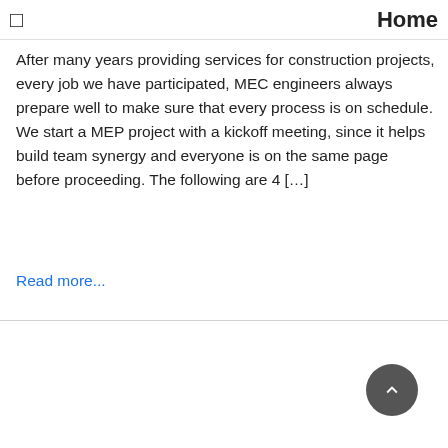Home
After many years providing services for construction projects, every job we have participated, MEC engineers always prepare well to make sure that every process is on schedule. We start a MEP project with a kickoff meeting, since it helps build team synergy and everyone is on the same page before proceeding. The following are 4 […]
Read more...
[Figure (other): Floating action button with arrow icon in bottom right corner]